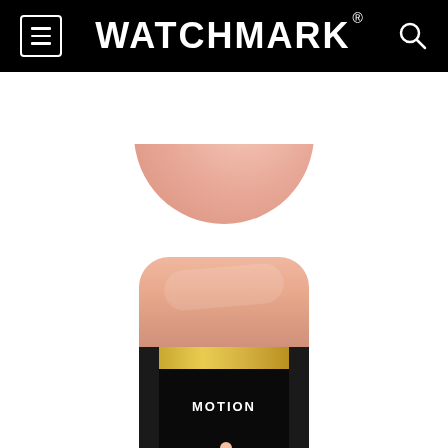WATCHMARK
[Figure (photo): Fitness tracker / smartband worn on a wrist, showing rose gold top body and a black OLED screen displaying 'MOTION' text with a running person icon. A partial view of the wrist/arm is visible at the top of the image.]